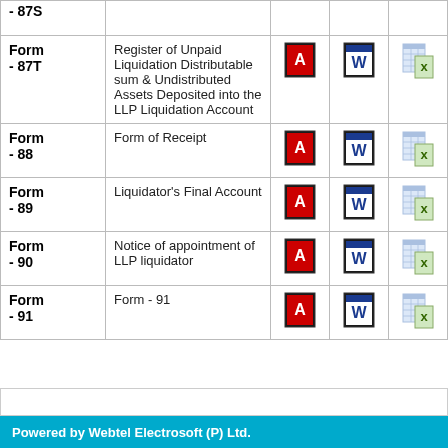| Form | Description | PDF | Word | Excel |
| --- | --- | --- | --- | --- |
| Form - 87S |  |  |  |  |
| Form - 87T | Register of Unpaid Liquidation Distributable sum & Undistributed Assets Deposited into the LLP Liquidation Account | [pdf] | [word] | [excel] |
| Form - 88 | Form of Receipt | [pdf] | [word] | [excel] |
| Form - 89 | Liquidator's Final Account | [pdf] | [word] | [excel] |
| Form - 90 | Notice of appointment of LLP liquidator | [pdf] | [word] | [excel] |
| Form - 91 | Form - 91 | [pdf] | [word] | [excel] |
Powered by Webtel Electrosoft (P) Ltd.